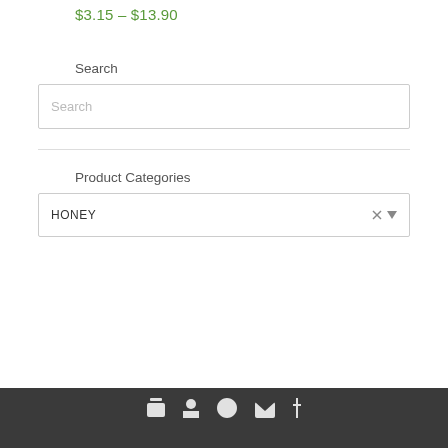$3.15 – $13.90
Search
[Figure (other): Search input text box with placeholder text 'Search']
Product Categories
[Figure (other): Dropdown selector showing 'HONEY' with close and dropdown arrow icons]
Dark footer bar with social media icons